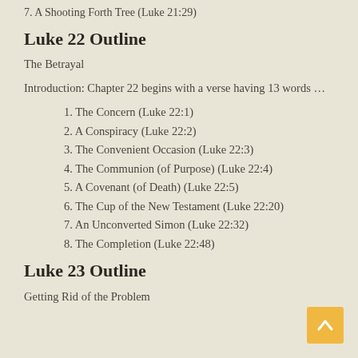7. A Shooting Forth Tree (Luke 21:29)
Luke 22 Outline
The Betrayal
Introduction: Chapter 22 begins with a verse having 13 words …
1. The Concern (Luke 22:1)
2. A Conspiracy (Luke 22:2)
3. The Convenient Occasion (Luke 22:3)
4. The Communion (of Purpose) (Luke 22:4)
5. A Covenant (of Death) (Luke 22:5)
6. The Cup of the New Testament (Luke 22:20)
7. An Unconverted Simon (Luke 22:32)
8. The Completion (Luke 22:48)
Luke 23 Outline
Getting Rid of the Problem